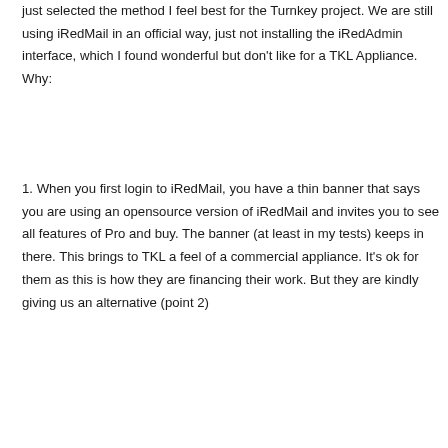just selected the method I feel best for the Turnkey project. We are still using iRedMail in an official way, just not installing the iRedAdmin interface, which I found wonderful but don't like for a TKL Appliance. Why:
1. When you first login to iRedMail, you have a thin banner that says you are using an opensource version of iRedMail and invites you to see all features of Pro and buy. The banner (at least in my tests) keeps in there. This brings to TKL a feel of a commercial appliance. It's ok for them as this is how they are financing their work. But they are kindly giving us an alternative (point 2)